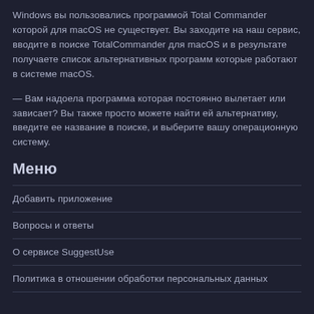Windows вы пользовались программой Total Commander которой для macOS не существует. Вы заходите на наш сервис, вводите в поиске TotalCommander для macOS и в результате получаете список альтернативных программ которые работают в системе macOS.
— Вам надоела программа которая постоянно вылетает или зависает? Вы также просто можете найти ей альтернативу, введите ее название в поиске, и выберите вашу операционную систему.
Меню
Добавить приложение
Вопросы и ответы
О сервисе SuggestUse
Политика в отношении обработки персональных данных